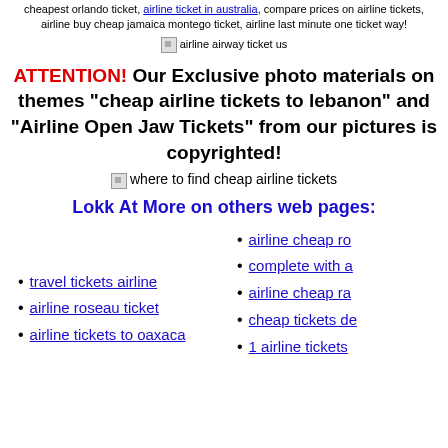cheapest orlando ticket, airline ticket in australia, compare prices on airline tickets, airline buy cheap jamaica montego ticket, airline last minute one ticket way!
[Figure (other): Broken image placeholder with alt text 'airline airway ticket us']
ATTENTION! Our Exclusive photo materials on themes "cheap airline tickets to lebanon" and "Airline Open Jaw Tickets" from our pictures is copyrighted!
[Figure (other): Broken image placeholder with alt text 'where to find cheap airline tickets']
Lokk At More on others web pages:
airline cheap ro
complete with a
travel tickets airline
airline cheap ra
airline roseau ticket
cheap tickets de
airline tickets to oaxaca
1 airline tickets